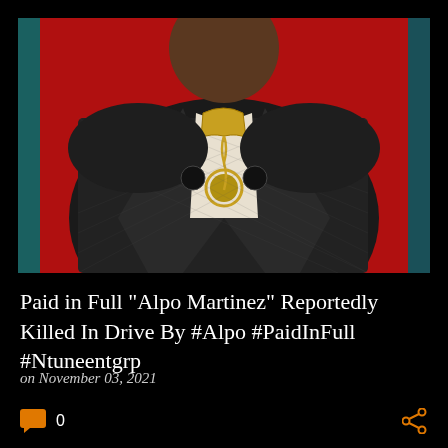[Figure (photo): Photo of a person wearing a patterned jacket with a large gold chain necklace, standing in front of a red background]
Paid in Full "Alpo Martinez" Reportedly Killed In Drive By #Alpo #PaidInFull #Ntuneentgrp
on November 03, 2021